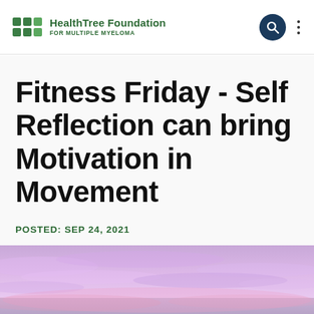HealthTree Foundation FOR MULTIPLE MYELOMA
Fitness Friday - Self Reflection can bring Motivation in Movement
POSTED: SEP 24, 2021
[Figure (photo): Soft purple and pink sky with wispy clouds, used as a hero image at the bottom of the article page.]